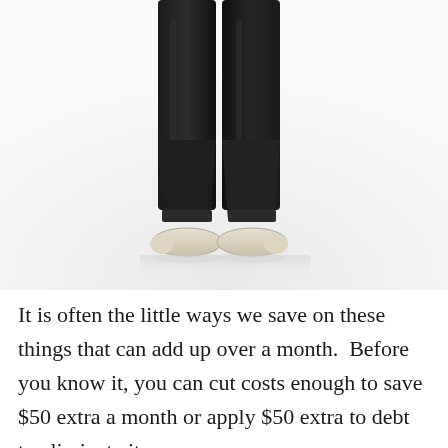[Figure (photo): Lower body of a person wearing black skinny jeans and white flat shoes, standing against a white background with a faint reflection on the floor.]
It is often the little ways we save on these things that can add up over a month.  Before you know it, you can cut costs enough to save $50 extra a month or apply $50 extra to debt to eliminate it